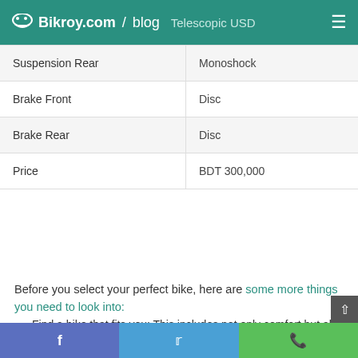Bikroy.com / blog  Telescopic USD
|  |  |
| --- | --- |
| Suspension Rear | Monoshock |
| Brake Front | Disc |
| Brake Rear | Disc |
| Price | BDT 300,000 |
Before you select your perfect bike, here are some more things you need to look into:
Find a bike that fits you: This includes not only comfort but also the bike's weight and design. For mid-range bikes, this can sometimes be hard to find, but don't worry because you can always customize your new motorbike
f  t  WhatsApp